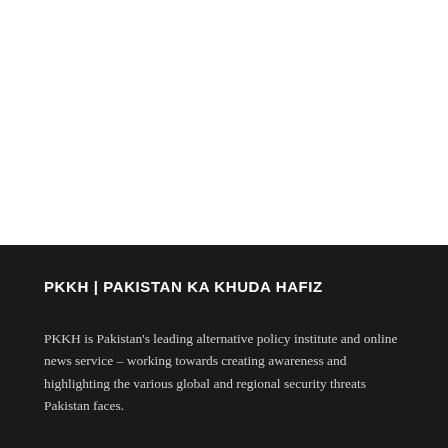[Figure (other): White blank area at top of page, likely space for an image or header graphic]
PKKH | PAKISTAN KA KHUDA HAFIZ
PKKH is Pakistan's leading alternative policy institute and online news service – working towards creating awareness and highlighting the various global and regional security threats Pakistan faces.